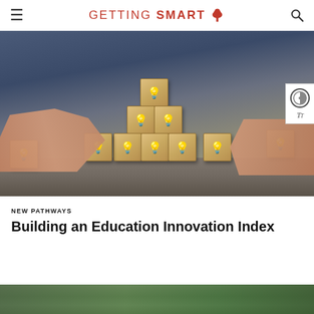GETTING SMART
[Figure (photo): Person arranging wooden blocks with lightbulb icons printed on them, stacked in a pyramid formation on a wooden table surface]
NEW PATHWAYS
Building an Education Innovation Index
[Figure (photo): Partial view of second article image at bottom of page]